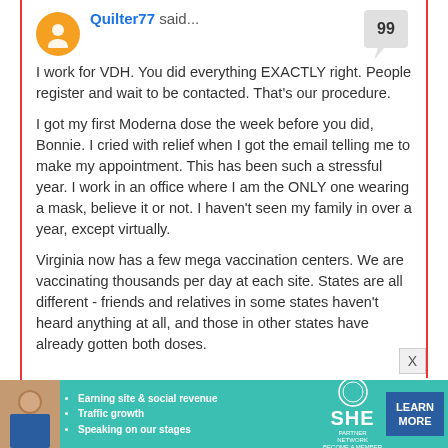Quilter77 said...
I work for VDH. You did everything EXACTLY right. People register and wait to be contacted. That's our procedure.

I got my first Moderna dose the week before you did, Bonnie. I cried with relief when I got the email telling me to make my appointment. This has been such a stressful year. I work in an office where I am the ONLY one wearing a mask, believe it or not. I haven't seen my family in over a year, except virtually.

Virginia now has a few mega vaccination centers. We are vaccinating thousands per day at each site. States are all different - friends and relatives in some states haven't heard anything at all, and those in other states have already gotten both doses.
[Figure (other): Advertisement banner for SHE Partner Network with a woman's photo, bullet points about earning site & social revenue, traffic growth, speaking on our stages, SHE logo, and a Learn More button]